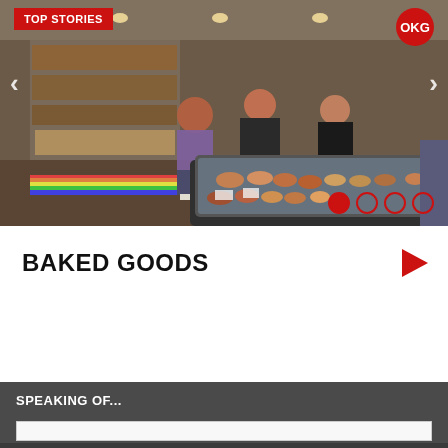[Figure (photo): Interior of a shop/store showing customers browsing, display cases with baked goods, and shelving with products in the background.]
TOP STORIES
OKG
BAKED GOODS
SPEAKING OF...